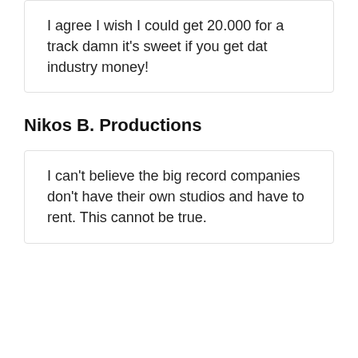I agree I wish I could get 20.000 for a track damn it's sweet if you get dat industry money!
Nikos B. Productions
I can't believe the big record companies don't have their own studios and have to rent. This cannot be true.